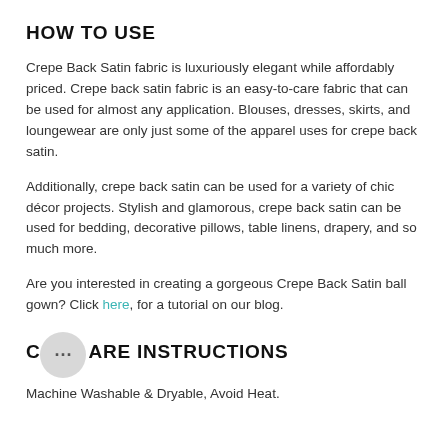HOW TO USE
Crepe Back Satin fabric is luxuriously elegant while affordably priced. Crepe back satin fabric is an easy-to-care fabric that can be used for almost any application. Blouses, dresses, skirts, and loungewear are only just some of the apparel uses for crepe back satin.
Additionally, crepe back satin can be used for a variety of chic décor projects. Stylish and glamorous, crepe back satin can be used for bedding, decorative pillows, table linens, drapery, and so much more.
Are you interested in creating a gorgeous Crepe Back Satin ball gown? Click here, for a tutorial on our blog.
CARE INSTRUCTIONS
Machine Washable & Dryable, Avoid Heat.